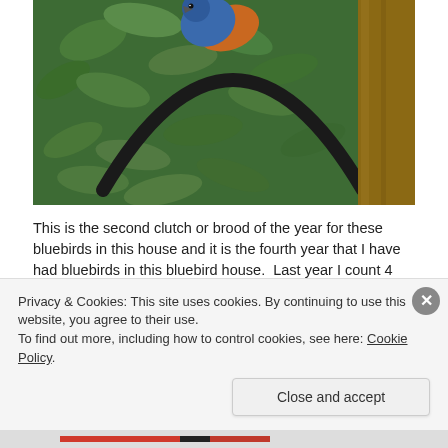[Figure (photo): A bluebird with blue and orange plumage perched on a curved iron hook or bracket near leafy green bushes, with a wooden panel visible on the right side.]
This is the second clutch or brood of the year for these bluebirds in this house and it is the fourth year that I have had bluebirds in this bluebird house.  Last year I count 4 different broods in this bluebird house. They will usually lay 4 to 7 eggs the first brood but average is
Privacy & Cookies: This site uses cookies. By continuing to use this website, you agree to their use.
To find out more, including how to control cookies, see here: Cookie Policy
Close and accept